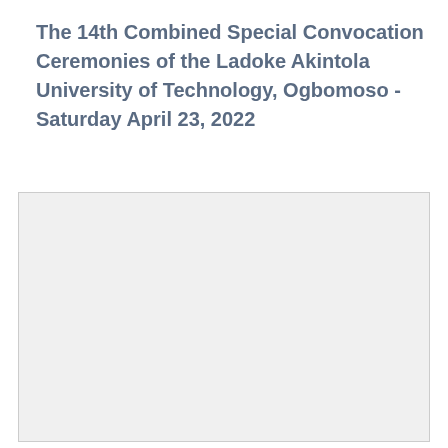The 14th Combined Special Convocation Ceremonies of the Ladoke Akintola University of Technology, Ogbomoso - Saturday April 23, 2022
[Figure (photo): A large light gray rectangular image placeholder box with a light border, occupying the lower portion of the page.]